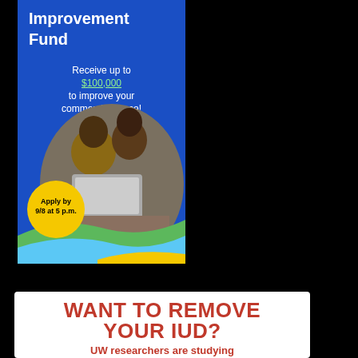[Figure (infographic): Blue advertisement banner for a Commercial Space Improvement Fund. White bold text reads 'Improvement Fund'. Below: 'Receive up to $100,000 to improve your commercial space!' A yellow bubble says 'Apply by 9/8 at 5 p.m.' A circular photo shows two people (a man and woman) looking at a laptop. The bottom has a wave design in green, blue, and yellow.]
[Figure (infographic): White advertisement banner with bold red text reading 'WANT TO REMOVE YOUR IUD?' Below in smaller red bold text: 'UW researchers are studying']